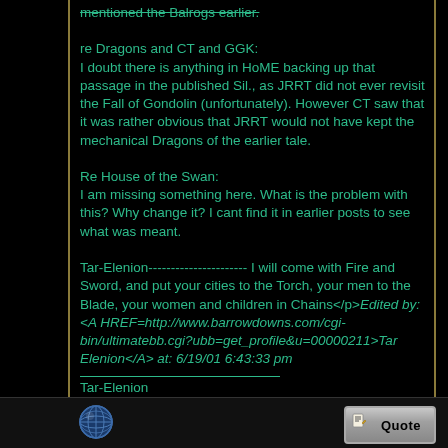mentioned the Balrogs earlier.

re Dragons and CT and GGK:
I doubt there is anything in HoME backing up that passage in the published Sil., as JRRT did not ever revisit the Fall of Gondolin (unfortunately). However CT saw that it was rather obvious that JRRT would not have kept the mechanical Dragons of the earlier tale.

Re House of the Swan:
I am missing something here. What is the problem with this? Why change it? I cant find it in earlier posts to see what was meant.

Tar-Elenion---------------------- I will come with Fire and Sword, and put your cities to the Torch, your men to the Blade, your women and children in Chains</p>Edited by: <A HREF=http://www.barrowdowns.com/cgi-bin/ultimatebb.cgi?ubb=get_profile&u=00000211>Tar Elenion</A> at: 6/19/01 6:43:33 pm

___________________
Tar-Elenion